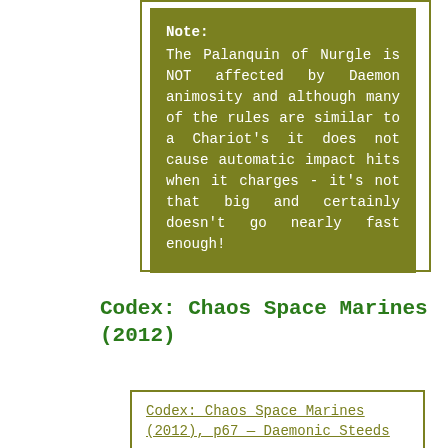Note: The Palanquin of Nurgle is NOT affected by Daemon animosity and although many of the rules are similar to a Chariot's it does not cause automatic impact hits when it charges - it's not that big and certainly doesn't go nearly fast enough!
Codex: Chaos Space Marines (2012)
Codex: Chaos Space Marines (2012), p67 — Daemonic Steeds